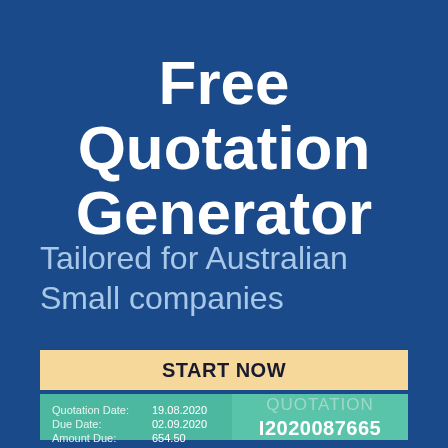Free Quotation Generator
Tailored for Australian Small companies
START NOW
| Quotation Date: | 19.08.2020 | QUOTATION |
| Due Date: | 02.09.2020 | I2020087665 |
| Amount Due: | 654.50 |  |